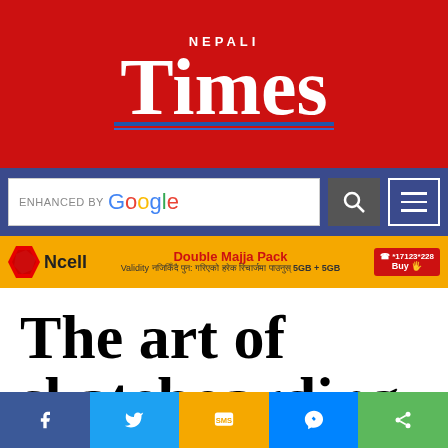[Figure (logo): Nepali Times logo — white text on red background with 'NEPALI' small above 'Times' in large serif font, blue underline]
[Figure (screenshot): Search bar with 'enhanced by Google' text and search icon button, hamburger menu button, on dark blue background]
[Figure (infographic): Ncell advertisement banner: orange background, Ncell logo, 'Double Majja Pack' in red bold text, Nepali text about validity 5GB+5GB, buy button]
The art of skateboarding
[Figure (screenshot): Social share bar at bottom: Facebook (blue), Twitter (light blue), SMS (orange/yellow), Messenger (blue), Share (green)]